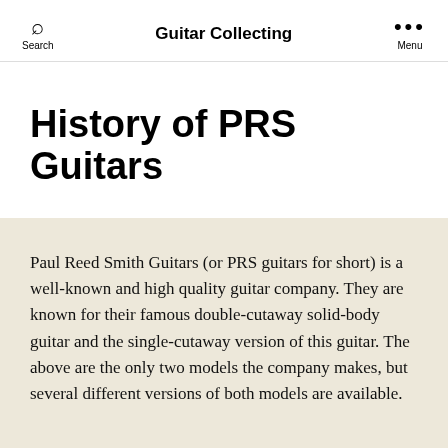Guitar Collecting
History of PRS Guitars
Paul Reed Smith Guitars (or PRS guitars for short) is a well-known and high quality guitar company. They are known for their famous double-cutaway solid-body guitar and the single-cutaway version of this guitar. The above are the only two models the company makes, but several different versions of both models are available.